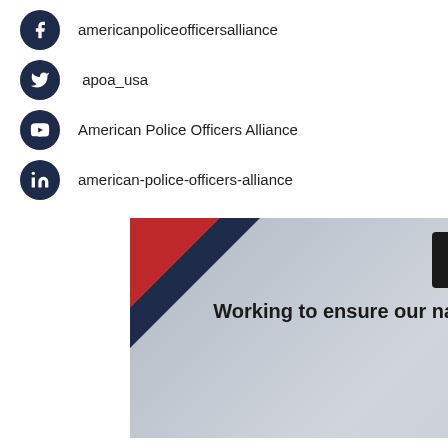americanpoliceofficersalliance
apoa_usa
American Police Officers Alliance
american-police-officers-alliance
[Figure (infographic): American Police Officers Alliance banner ad with logo, tagline 'Working to ensure our nation's finest have a unified voice in politics.' and a red JOIN NOW > button, on a grey background with red and dark navy accent shapes.]